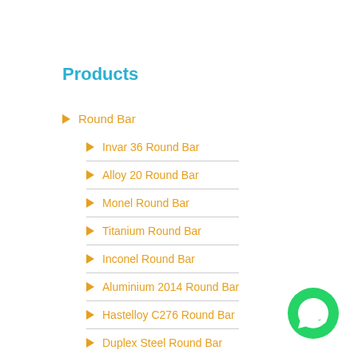Products
Round Bar
Invar 36 Round Bar
Alloy 20 Round Bar
Monel Round Bar
Titanium Round Bar
Inconel Round Bar
Aluminium 2014 Round Bar
Hastelloy C276 Round Bar
Duplex Steel Round Bar
[Figure (logo): WhatsApp contact button (green circle with phone icon)]